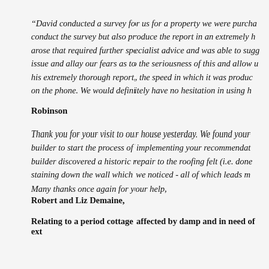“David conducted a survey for us for a property we were purcha… conduct the survey but also produce the report in an extremely h… arose that required further specialist advice and was able to sugg… issue and allay our fears as to the seriousness of this and allow u… his extremely thorough report, the speed in which it was produc… on the phone. We would definitely have no hesitation in using h…
Robinson
Thank you for your visit to our house yesterday. We found your… builder to start the process of implementing your recommendat… builder discovered a historic repair to the roofing felt (i.e. done… staining down the wall which we noticed - all of which leads m… Many thanks once again for your help, Robert and Liz Demaine,
Relating to a period cottage affected by damp and in need of ext…